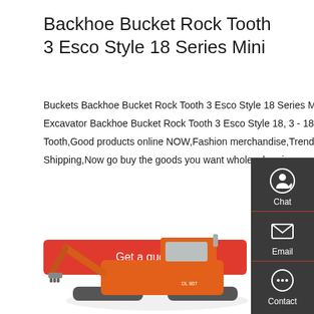Backhoe Bucket Rock Tooth 3 Esco Style 18 Series Mini
Buckets Backhoe Bucket Rock Tooth 3 Esco Style 18 Series Mini Excavator Series Mini Excavator Backhoe Bucket Rock Tooth 3 Esco Style 18, 3 - 18VIP Single Point Rock Tooth,Good products online NOW,Fashion merchandise,Trend frontier,Fast FREE Shipping,Now go buy the goods you want wholesale prices.
Get a quote
[Figure (illustration): Orange construction excavator/backhoe loader machine at the bottom of the page]
[Figure (infographic): Dark sidebar with Chat, Email, and Contact icons]